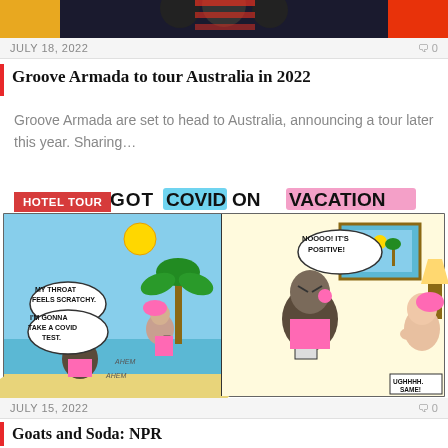[Figure (photo): Top portion of an article image showing people in colorful clothing against a yellow/gold and dark background, cropped.]
JULY 18, 2022   0
Groove Armada to tour Australia in 2022
Groove Armada are set to head to Australia, announcing a tour later this year. Sharing…
[Figure (illustration): Comic strip titled 'HOTEL TOUR GOT COVID ON VACATION' showing two panels: left panel with characters on a beach, one saying 'MY THROAT FEELS SCRATCHY.' 'I'M GONNA TAKE A COVID TEST.' 'AHEM AHEM'; right panel showing a character indoors saying 'NOOOO! IT'S POSITIVE!' with another character saying 'UGHHHH. SAME!']
JULY 15, 2022   0
Goats and Soda: NPR